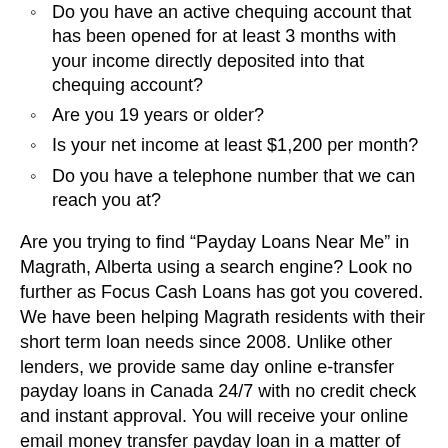Do you have an active chequing account that has been opened for at least 3 months with your income directly deposited into that chequing account?
Are you 19 years or older?
Is your net income at least $1,200 per month?
Do you have a telephone number that we can reach you at?
Are you trying to find “Payday Loans Near Me” in Magrath, Alberta using a search engine? Look no further as Focus Cash Loans has got you covered. We have been helping Magrath residents with their short term loan needs since 2008. Unlike other lenders, we provide same day online e-transfer payday loans in Canada 24/7 with no credit check and instant approval. You will receive your online email money transfer payday loan in a matter of minutes once your application is approved. We don't just look at